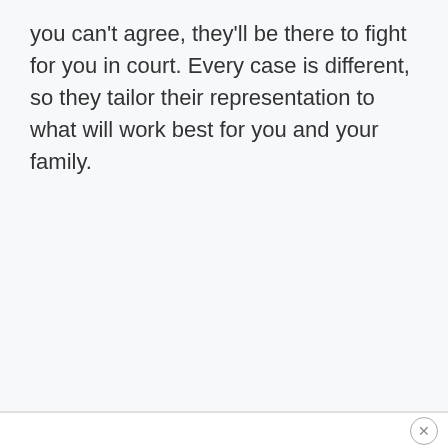you can't agree, they'll be there to fight for you in court. Every case is different, so they tailor their representation to what will work best for you and your family.
×